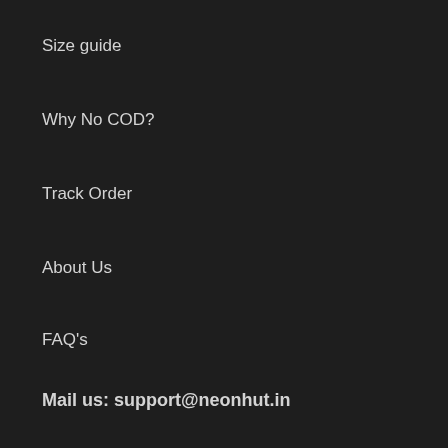Size guide
Why No COD?
Track Order
About Us
FAQ's
Mail us: support@neonhut.in
Warranty
Reviews